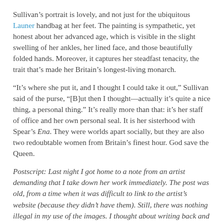Sullivan's portrait is lovely, and not just for the ubiquitous Launer handbag at her feet. The painting is sympathetic, yet honest about her advanced age, which is visible in the slight swelling of her ankles, her lined face, and those beautifully folded hands. Moreover, it captures her steadfast tenacity, the trait that's made her Britain's longest-living monarch.
“It’s where she put it, and I thought I could take it out,” Sullivan said of the purse, “[B]ut then I thought—actually it’s quite a nice thing, a personal thing.” It’s really more than that: it’s her staff of office and her own personal seal. It is her sisterhood with Spear’s Ena. They were worlds apart socially, but they are also two redoubtable women from Britain's finest hour. God save the Queen.
Postscript: Last night I got home to a note from an artist demanding that I take down her work immediately. The post was old, from a time when it was difficult to link to the artist’s website (because they didn’t have them). Still, there was nothing illegal in my use of the images. I thought about writing back and explaining the Fair Use Exemption to American copyright law. However, that wasn’t her biggest...